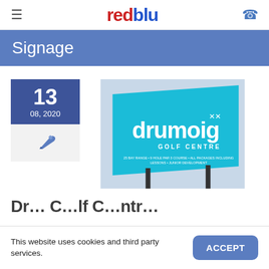≡ redblu ☎
Signage
[Figure (illustration): Blue billboard sign for Drumoig Golf Centre showing text: drumoig GOLF CENTRE, 25 Bay Range + 9 Hole Par 3 Course • All Packages Including Lessons • Junior Development]
13
08, 2020
Drumoig Golf Centre
This website uses cookies and third party services.